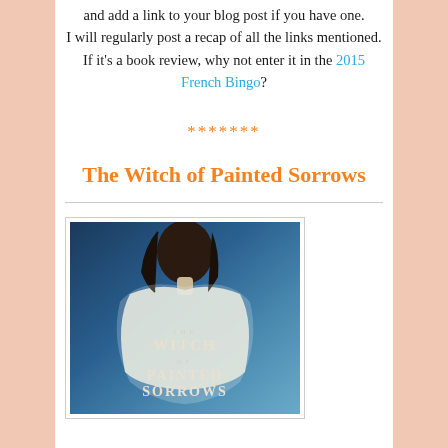and add a link to your blog post if you have one. I will regularly post a recap of all the links mentioned. If it's a book review, why not enter it in the 2015 French Bingo?
*******
The Witch of Painted Sorrows
[Figure (photo): Book cover of 'The Witch of Painted Sorrows' showing a woman in a white flowing garment against a blue background, with the book title text overlaid at the bottom.]